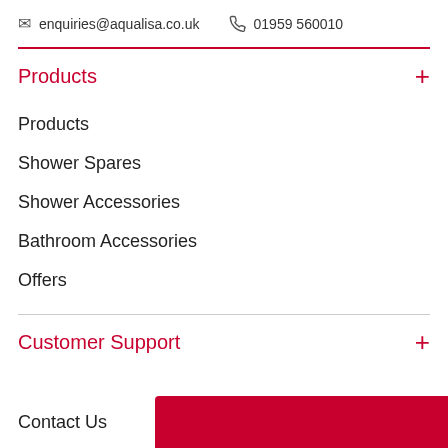enquiries@aqualisa.co.uk   01959 560010
Products
Products
Shower Spares
Shower Accessories
Bathroom Accessories
Offers
Customer Support
Contact Us